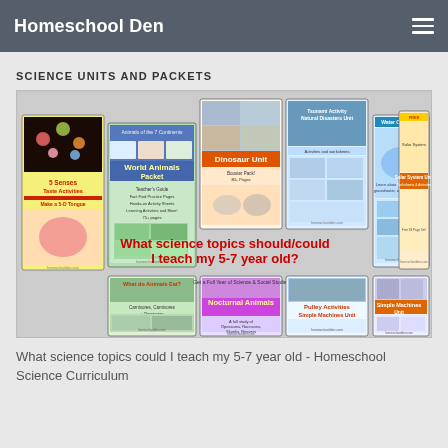Homeschool Den
SCIENCE UNITS AND PACKETS
[Figure (illustration): Collage of science unit covers including World Animals Packet, Dinosaur Unit, Natural Disasters Unit, Water Cycle Unit, Solar System Unit, 5 Senses Taste Activities, What do Animals Eat, Nocturnal Animals, Pulley Activities Simple Machines Unit, Simple Machines Unit. Center text reads: What science topics should/could I teach my 5-7 year old?]
What science topics could I teach my 5-7 year old - Homeschool Science Curriculum